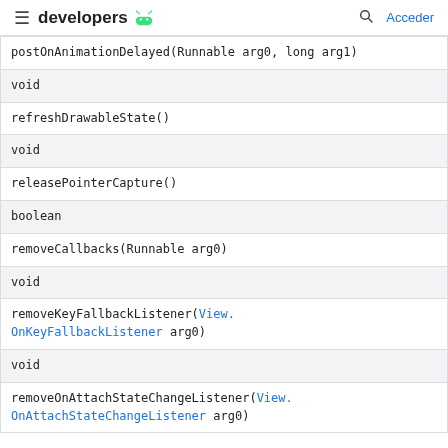developers [android logo] | [search] Acceder
| postOnAnimationDelayed(Runnable arg0, long arg1) |
| void |
| refreshDrawableState() |
| void |
| releasePointerCapture() |
| boolean |
| removeCallbacks(Runnable arg0) |
| void |
| removeKeyFallbackListener(View.OnKeyFallbackListener arg0) |
| void |
| removeOnAttachStateChangeListener(View.OnAttachStateChangeListener arg0) |